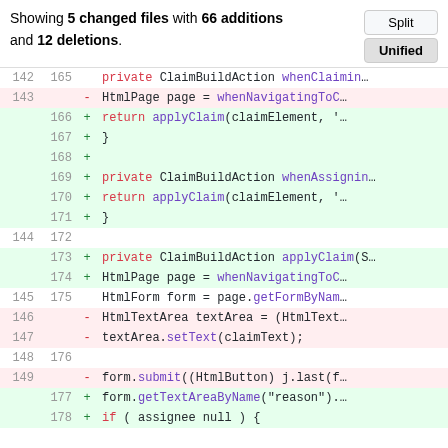Showing 5 changed files with 66 additions and 12 deletions.
[Figure (screenshot): Unified diff view of code changes showing added and removed lines with line numbers and syntax highlighting]
| old | new | sign | code |
| --- | --- | --- | --- |
| 142 | 165 |  | private ClaimBuildAction whenClaiming... |
| 143 |  | - | HtmlPage page = whenNavigatingToC... |
|  | 166 | + | return applyClaim(claimElement, '... |
|  | 167 | + | } |
|  | 168 | + |  |
|  | 169 | + | private ClaimBuildAction whenAssignin... |
|  | 170 | + | return applyClaim(claimElement, '... |
|  | 171 | + | } |
| 144 | 172 |  |  |
|  | 173 | + | private ClaimBuildAction applyClaim(S... |
|  | 174 | + | HtmlPage page = whenNavigatingToC... |
| 145 | 175 |  | HtmlForm form = page.getFormByNam... |
| 146 |  | - | HtmlTextArea textArea = (HtmlText... |
| 147 |  | - | textArea.setText(claimText); |
| 148 | 176 |  |  |
| 149 |  | - | form.submit((HtmlButton) j.last(f... |
|  | 177 | + | form.getTextAreaByName("reason"). |
|  | 178 | + | if ( assignee  null ) { |